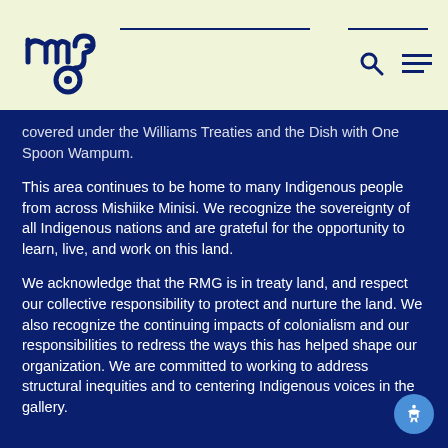[Figure (logo): RMG logo in dark blue on light yellow-green background, stylized letters r, m, g with circular element]
RMG website header with logo, search icon, and hamburger menu
covered under the Williams Treaties and the Dish with One Spoon Wampum.
This area continues to be home to many Indigenous people from across Mishiike Minisi. We recognize the sovereignty of all Indigenous nations and are grateful for the opportunity to learn, live, and work on this land.
We acknowledge that the RMG is in treaty land, and respect our collective responsibility to protect and nurture the land. We also recognize the continuing impacts of colonialism and our responsibilities to redress the ways this has helped shape our organization. We are committed to working to address structural inequities and to centering Indigenous voices in the gallery.